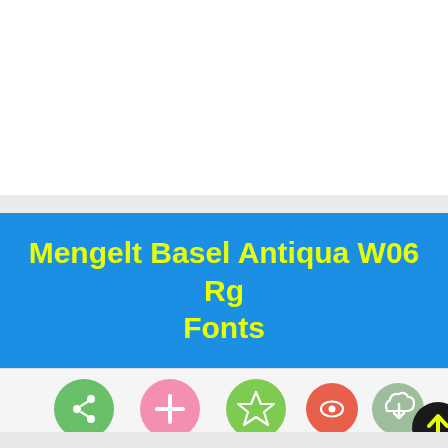Mengelt Basel Antiqua W06 Rg Fonts
[Figure (infographic): A row of six circular icon buttons: green share icon, pink plus icon, bright green star icon, red/coral eye icon, gray-green cloud-download icon, and black circle with yellow up-arrow icon.]